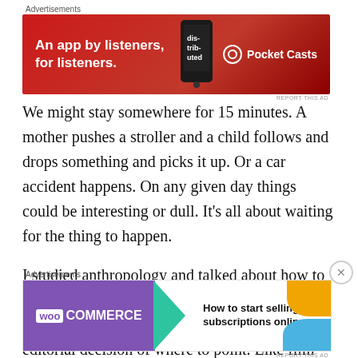[Figure (other): Pocket Casts advertisement banner: red background with text 'An app by listeners, for listeners.' and Pocket Casts logo with phone graphic]
We might stay somewhere for 15 minutes. A mother pushes a stroller and a child follows and drops something and picks it up. Or a car accident happens. On any given day things could be interesting or dull. It's all about waiting for the thing to happen.
I studied anthropology and talked about how to represent a culture to other people through photos and film. You are already making editorial decision of where to point. Like film you might add music to enhance or bring out the
[Figure (other): WooCommerce advertisement banner: purple WooCommerce logo on left with teal arrow, text 'How to start selling subscriptions online' on right with orange and blue decorative shapes]